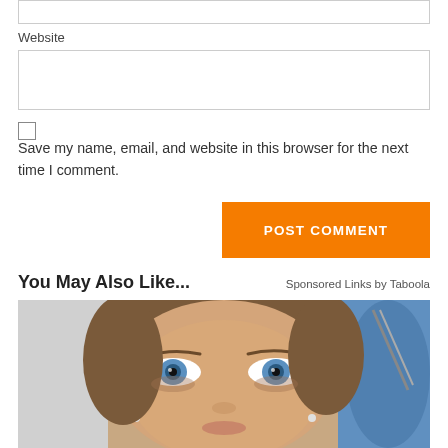Website
Save my name, email, and website in this browser for the next time I comment.
POST COMMENT
You May Also Like...
Sponsored Links by Taboola
[Figure (photo): Close-up photo of a young woman with blue eyes looking up, with a person in blue medical gloves holding a tool near her face on the right side.]